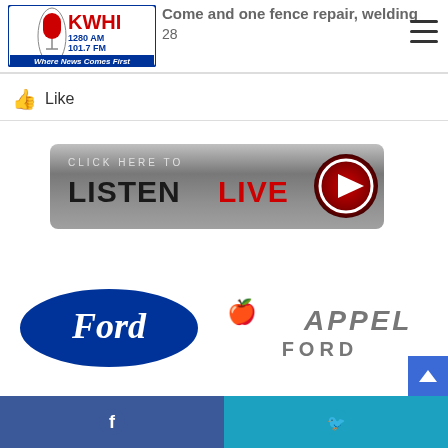[Figure (logo): KWHI 1280 AM 101.7 FM radio station logo — Where News Comes First]
Come and one fence repair, welding
28
👍 Like
[Figure (illustration): Click Here To Listen Live button with red play icon]
[Figure (logo): Ford oval logo and Appel Ford dealership logo]
[Figure (infographic): Facebook share button (blue) and Twitter share button (light blue) at bottom of page]